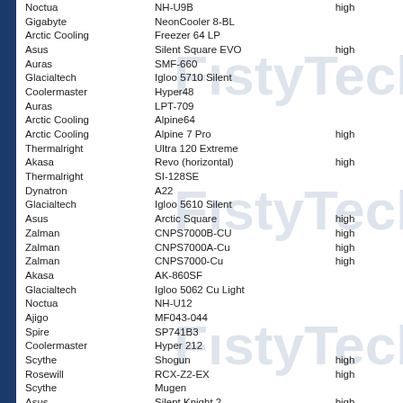| Brand | Model | Rating |
| --- | --- | --- |
| Noctua | NH-U9B | high |
| Gigabyte | NeonCooler 8-BL |  |
| Arctic Cooling | Freezer 64 LP |  |
| Asus | Silent Square EVO | high |
| Auras | SMF-660 |  |
| Glacialtech | Igloo 5710 Silent |  |
| Coolermaster | Hyper48 |  |
| Auras | LPT-709 |  |
| Arctic Cooling | Alpine64 |  |
| Arctic Cooling | Alpine 7 Pro | high |
| Thermalright | Ultra 120 Extreme |  |
| Akasa | Revo (horizontal) | high |
| Thermalright | SI-128SE |  |
| Dynatron | A22 |  |
| Glacialtech | Igloo 5610 Silent |  |
| Asus | Arctic Square | high |
| Zalman | CNPS7000B-CU | high |
| Zalman | CNPS7000A-Cu | high |
| Zalman | CNPS7000-Cu | high |
| Akasa | AK-860SF |  |
| Glacialtech | Igloo 5062 Cu Light |  |
| Noctua | NH-U12 |  |
| Ajigo | MF043-044 |  |
| Spire | SP741B3 |  |
| Coolermaster | Hyper 212 |  |
| Scythe | Shogun | high |
| Rosewill | RCX-Z2-EX | high |
| Scythe | Mugen |  |
| Asus | Silent Knight 2 | high |
| Thermalright | MST-977SLE |  |